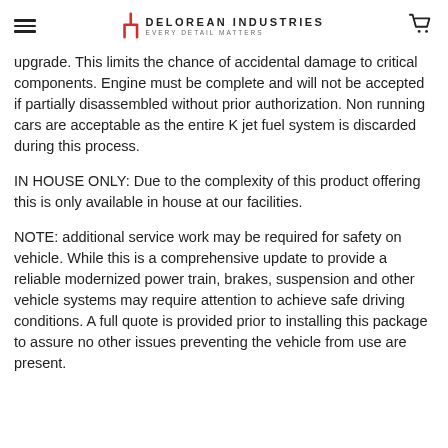DELOREAN INDUSTRIES — Every Detail Matters
upgrade. This limits the chance of accidental damage to critical components. Engine must be complete and will not be accepted if partially disassembled without prior authorization. Non running cars are acceptable as the entire K jet fuel system is discarded during this process.
IN HOUSE ONLY: Due to the complexity of this product offering this is only available in house at our facilities.
NOTE: additional service work may be required for safety on vehicle. While this is a comprehensive update to provide a reliable modernized power train, brakes, suspension and other vehicle systems may require attention to achieve safe driving conditions. A full quote is provided prior to installing this package to assure no other issues preventing the vehicle from use are present.